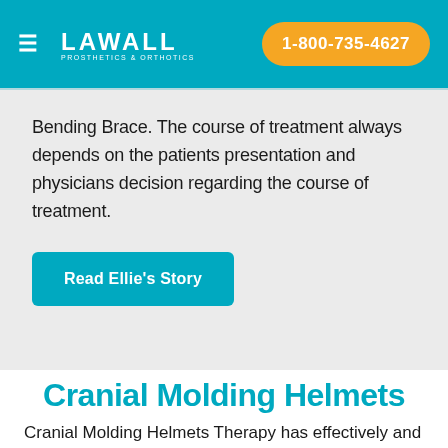LAWALL PROSTHETICS & ORTHOTICS | 1-800-735-4627
Bending Brace. The course of treatment always depends on the patients presentation and physicians decision regarding the course of treatment.
Read Ellie's Story
Cranial Molding Helmets
Cranial Molding Helmets Therapy has effectively and painlessly reshaped over 100,000 infant heads for the